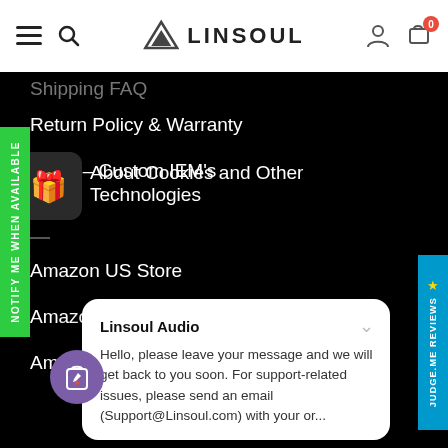LINSOUL
Shipping FAQ (partially visible)
Return Policy & Warranty
CIEM – Custom IEM's
About Cookies and Other Technologies
Amazon US Store
Amazon CA Store
Amazon UK Store
Linsoul Audio
Hello, please leave your message and we will get back to you soon. For support-related issues, please send an email (Support@Linsoul.com) with your or...